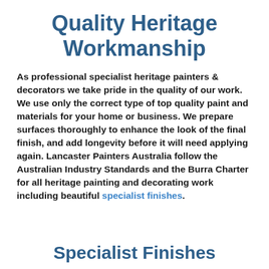Quality Heritage Workmanship
As professional specialist heritage painters & decorators we take pride in the quality of our work. We use only the correct type of top quality paint and materials for your home or business. We prepare surfaces thoroughly to enhance the look of the final finish, and add longevity before it will need applying again. Lancaster Painters Australia follow the Australian Industry Standards and the Burra Charter for all heritage painting and decorating work including beautiful specialist finishes.
Specialist Finishes